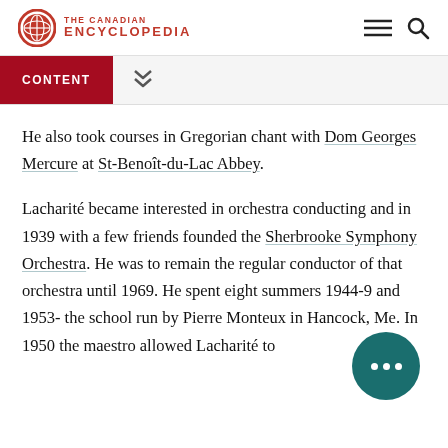THE CANADIAN ENCYCLOPEDIA
CONTENT
He also took courses in Gregorian chant with Dom Georges Mercure at St-Benoît-du-Lac Abbey.
Lacharité became interested in orchestra conducting and in 1939 with a few friends founded the Sherbrooke Symphony Orchestra. He was to remain the regular conductor of that orchestra until 1969. He spent eight summers 1944-9 and 1953- the school run by Pierre Monteux in Hancock, Me. In 1950 the maestro allowed Lacharité to